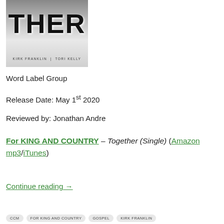[Figure (photo): Album cover showing 'TOGETHER' text with Kirk Franklin and Tori Kelly artist names at the bottom, dark gradient with faces in background]
Word Label Group
Release Date: May 1st 2020
Reviewed by: Jonathan Andre
For KING AND COUNTRY – Together (Single) (Amazon mp3/iTunes)
Continue reading →
CCM
FOR KING AND COUNTRY
GOSPEL
KIRK FRANKLIN